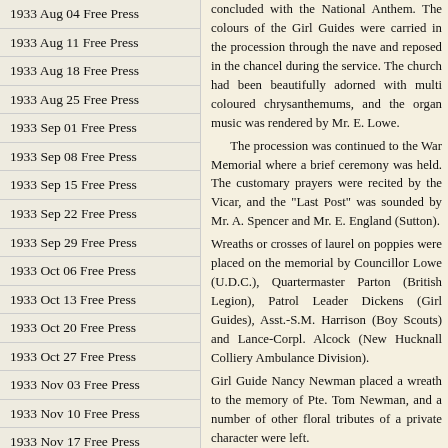1933 Aug 04 Free Press
1933 Aug 11 Free Press
1933 Aug 18 Free Press
1933 Aug 25 Free Press
1933 Sep 01 Free Press
1933 Sep 08 Free Press
1933 Sep 15 Free Press
1933 Sep 22 Free Press
1933 Sep 29 Free Press
1933 Oct 06 Free Press
1933 Oct 13 Free Press
1933 Oct 20 Free Press
1933 Oct 27 Free Press
1933 Nov 03 Free Press
1933 Nov 10 Free Press
1933 Nov 17 Free Press
1933 Nov 24 Free Press
1933 Dec 01 Free Press
1933 Dec 08 Free Press
concluded with the National Anthem. The colours of the Girl Guides were carried in the procession through the nave and reposed in the chancel during the service. The church had been beautifully adorned with multi coloured chrysanthemums, and the organ music was rendered by Mr. E. Lowe. The procession was continued to the War Memorial where a brief ceremony was held. The customary prayers were recited by the Vicar, and the "Last Post" was sounded by Mr. A. Spencer and Mr. E. England (Sutton). Wreaths or crosses of laurel on poppies were placed on the memorial by Councillor Lowe (U.D.C.), Quartermaster Parton (British Legion), Patrol Leader Dickens (Girl Guides), Asst.-S.M. Harrison (Boy Scouts) and Lance-Corpl. Alcock (New Hucknall Colliery Ambulance Division). Girl Guide Nancy Newman placed a wreath to the memory of Pte. Tom Newman, and a number of other floral tributes of a private character were left. The Huthwaite Branch of the League of Nations Union took advantage of the day to hold peace services in the Sherwood Street Methodist Church. The sermons were preached by the Rev. F.A. Street (Nottingham) and special music was rendered by the choir, including the "Hymn of Peace."
HUTHWAITE.
The annual chrysanthemum show at the "Shoulder